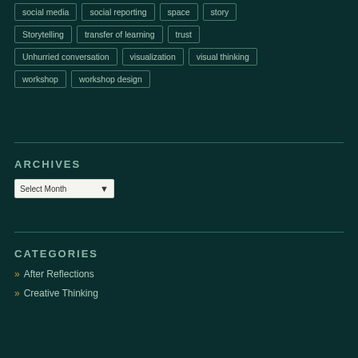social media
social reporting
space
story
Storytelling
transfer of learning
trust
Unhurried conversation
visualization
visual thinking
workshop
workshop design
ARCHIVES
Select Month
CATEGORIES
» After Reflections
» Creative Thinking